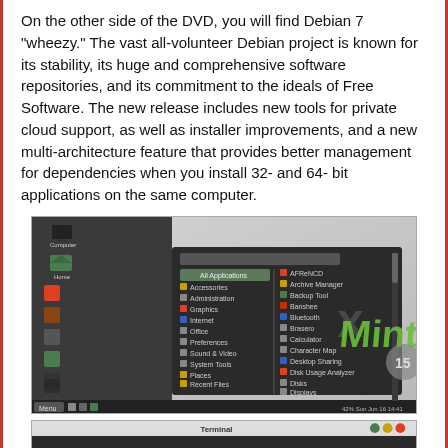On the other side of the DVD, you will find Debian 7 "wheezy." The vast all-volunteer Debian project is known for its stability, its huge and comprehensive software repositories, and its commitment to the ideals of Free Software. The new release includes new tools for private cloud support, as well as installer improvements, and a new multi-architecture feature that provides better management for dependencies when you install 32- and 64- bit applications on the same computer.
[Figure (screenshot): Screenshot of Linux Mint 15 desktop showing the application menu open with categories like All Applications, Accessories, Administration, Graphics, Internet, Office, Preferences, Sound & Video, System Tools, Places, Recent Files, and individual apps on the right. The Linux Mint 15 3D logo is visible on the right side of the desktop.]
[Figure (screenshot): Partial screenshot of a Terminal window, partially visible at the bottom of the page.]